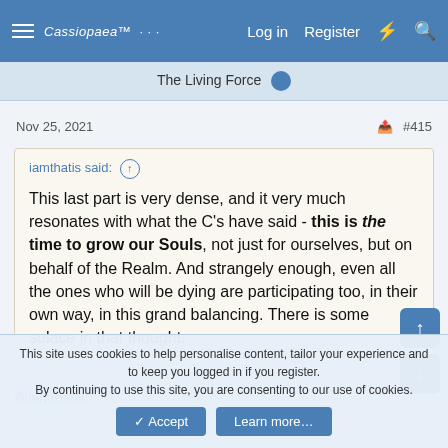Cassiopaea Forum — The Living Force | Log in | Register
Nov 25, 2021  #415
iamthatis said: ↑

This last part is very dense, and it very much resonates with what the C's have said - this is the time to grow our Souls, not just for ourselves, but on behalf of the Realm. And strangely enough, even all the ones who will be dying are participating too, in their own way, in this grand balancing. There is some solace in that thought.
@iamthatis.
This site uses cookies to help personalise content, tailor your experience and to keep you logged in if you register.
By continuing to use this site, you are consenting to our use of cookies.